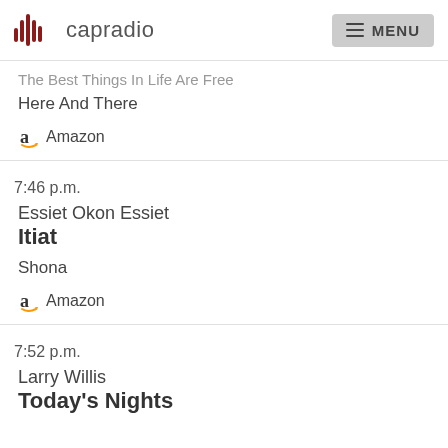capradio | MENU
The Best Things In Life Are Free
Here And There
Amazon
7:46 p.m.
Essiet Okon Essiet
Itiat
Shona
Amazon
7:52 p.m.
Larry Willis
Today's Nights